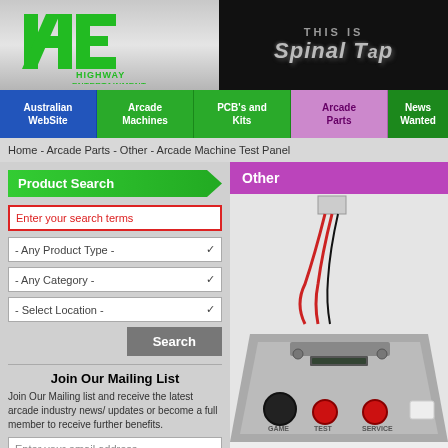[Figure (logo): Highway Entertainment logo - green HE letters with company name]
[Figure (screenshot): THIS IS SPINAL TAP banner in black and silver text]
Australian WebSite | Arcade Machines | PCB's and Kits | Arcade Parts | News Wanted
Home - Arcade Parts - Other - Arcade Machine Test Panel
Product Search
Enter your search terms
- Any Product Type -
- Any Category -
- Select Location -
Search
Join Our Mailing List
Join Our Mailing list and receive the latest arcade industry news/ updates or become a full member to receive further benefits.
Enter your email address
Join
Other
[Figure (photo): Arcade Machine Test Panel product image showing a grey panel with wires, buttons labeled GAME, TEST, SERVICE]